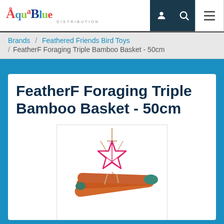[Figure (logo): AquaBlue Distribution logo - colorful text with fish/sea theme]
[Figure (screenshot): Navigation icons: user icon, search icon, hamburger menu]
Brands / Feathered Friends Bird Toys / FeatherF Foraging Triple Bamboo Basket - 50cm
FeatherF Foraging Triple Bamboo Basket - 50cm
[Figure (photo): Product photo: FeatherF Foraging Triple Bamboo Basket showing orange bamboo sticks and a pink star-shaped decoration on a rope hanger, on white background]